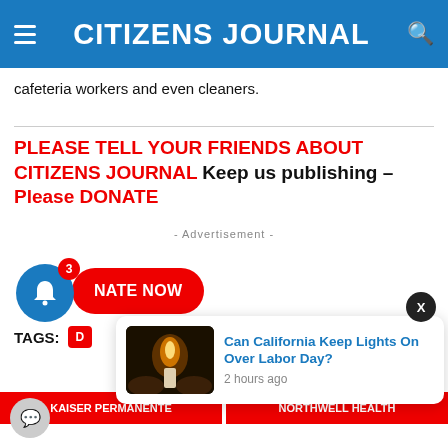CITIZENS JOURNAL
cafeteria workers and even cleaners.
PLEASE TELL YOUR FRIENDS ABOUT CITIZENS JOURNAL  Keep us publishing – Please DONATE
- Advertisement -
[Figure (other): Notification bell icon with badge showing 3, and a red DONATE NOW button]
TAGS:
[Figure (screenshot): Popup notification showing candle image and headline 'Can California Keep Lights On Over Labor Day?' with time '2 hours ago']
KAISER PERMANENTE
NORTHWELL HEALTH